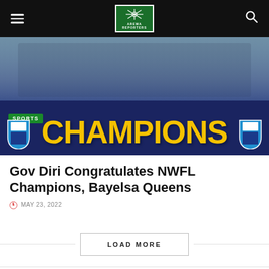AREWA REPORTERS
[Figure (photo): Football team celebrating championship win with 'CHAMPIONS' text overlay on navy/yellow banner, showing 'SPORTS' badge, and two team shields on either side. Players in light blue uniforms posing on a track.]
Gov Diri Congratulates NWFL Champions, Bayelsa Queens
MAY 23, 2022